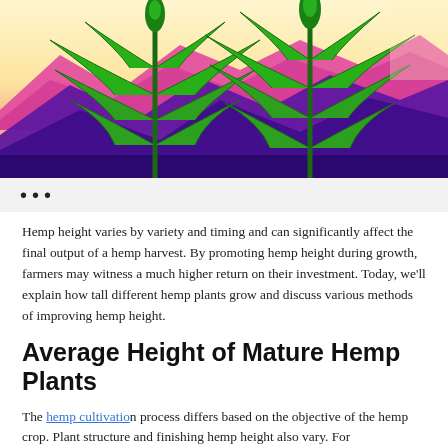[Figure (illustration): Illustration of two tall hemp/cannabis plants with green foliage against a colorful background with pink and purple mountains and a light yellow sky.]
•••
Hemp height varies by variety and timing and can significantly affect the final output of a hemp harvest. By promoting hemp height during growth, farmers may witness a much higher return on their investment. Today, we'll explain how tall different hemp plants grow and discuss various methods of improving hemp height.
Average Height of Mature Hemp Plants
The hemp cultivation process differs based on the objective of the hemp crop. Plant structure and finishing hemp height also vary. For